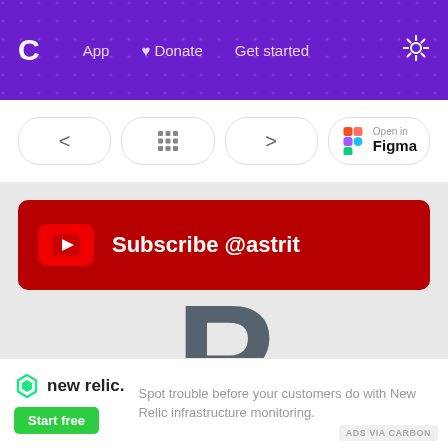App  ♥ Donate  Get started
[Figure (screenshot): Navigation toolbar with back arrow, grid/dots icon, forward arrow buttons, and Open in Figma button]
[Figure (screenshot): Dark red YouTube subscribe banner with play icon and text 'Subscribe @astrit']
[Figure (logo): Large dark grey letter P logo, partially visible]
[Figure (logo): New Relic logo with green icon and black text]
Spot trouble before your customers do with New Relic infrastructure monitoring.
ADS VIA CARBON